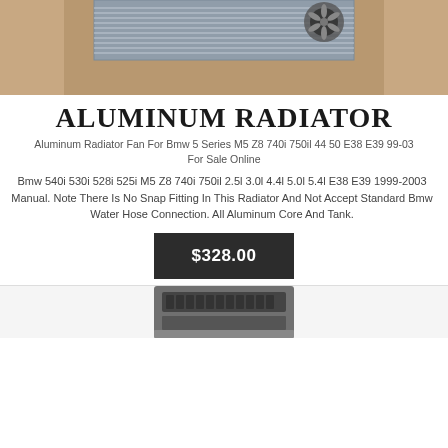[Figure (photo): Photo of an aluminum radiator with fan, shown from above on a brown/wooden surface, partially cropped at top]
ALUMINUM RADIATOR
Aluminum Radiator Fan For Bmw 5 Series M5 Z8 740i 750il 44 50 E38 E39 99-03 For Sale Online
Bmw 540i 530i 528i 525i M5 Z8 740i 750il 2.5l 3.0l 4.4l 5.0l 5.4l E38 E39 1999-2003 Manual. Note There Is No Snap Fitting In This Radiator And Not Accept Standard Bmw Water Hose Connection. All Aluminum Core And Tank.
$328.00
[Figure (photo): Photo of an engine part or car component, dark metallic, partially visible at bottom of page]